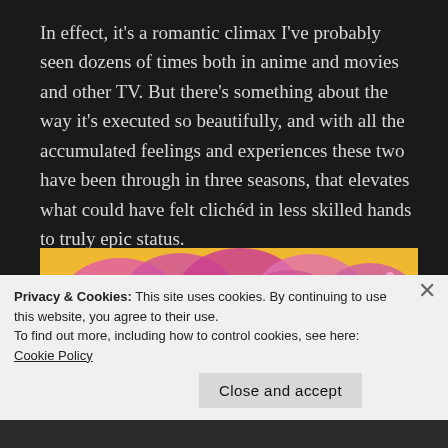In effect, it's a romantic climax I've probably seen dozens of times both in anime and movies and other TV. But there's something about the way it's executed so beautifully, and with all the accumulated feelings and experiences these two have been through in three seasons, that elevates what could have felt clichéd in less skilled hands to truly epic status.
[Figure (illustration): Anime scene showing two characters among a field of pink cherry blossoms with a golden/yellow background]
Privacy & Cookies: This site uses cookies. By continuing to use this website, you agree to their use.
To find out more, including how to control cookies, see here: Cookie Policy